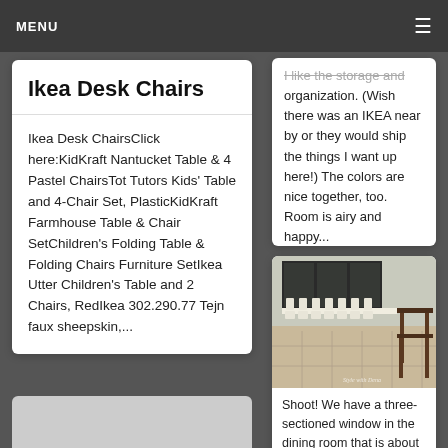MENU
Ikea Desk Chairs
Ikea Desk ChairsClick here:KidKraft Nantucket Table & 4 Pastel ChairsTot Tutors Kids' Table and 4-Chair Set, PlasticKidKraft Farmhouse Table & Chair SetChildren's Folding Table & Folding Chairs Furniture SetIkea Utter Children's Table and 2 Chairs, RedIkea 302.290.77 Tejn faux sheepskin,...
I like the storage and organization. (Wish there was an IKEA near by or they would ship the things I want up here!) The colors are nice together, too. Room is airy and happy...
[Figure (photo): Photo of a dining area with white chairs lined up along a long white bench/table under a three-sectioned window, and a dark wood farmhouse table with bench on the right side. Tile floor visible. Watermark reads 'Style with Dena'.]
Shoot! We have a three-sectioned window in the dining room that is about seven feet long.